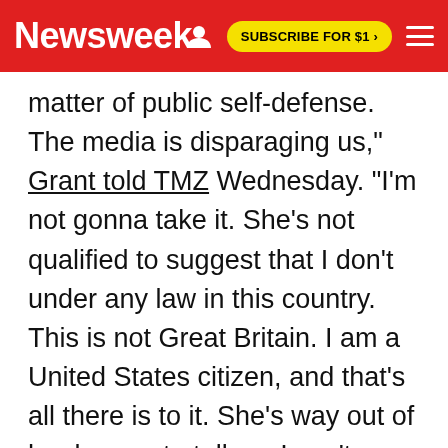Newsweek
matter of public self-defense. The media is disparaging us," Grant told TMZ Wednesday. "I'm not gonna take it. She's not qualified to suggest that I don't under any law in this country. This is not Great Britain. I am a United States citizen, and that's all there is to it. She's way out of her league to tell me I can't speak. I'm not saying anything about her, but if I'm talking about my life or my father's, she has to respect it."